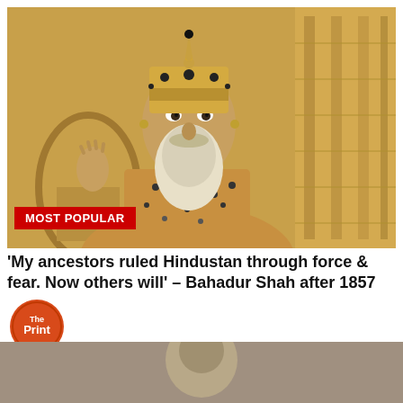[Figure (illustration): Portrait painting of Bahadur Shah Zafar, last Mughal emperor, wearing ornate golden crown/headdress with jewels, shown against a decorative golden background with arched Mughal architectural elements]
MOST POPULAR
'My ancestors ruled Hindustan through force & fear. Now others will' – Bahadur Shah after 1857
[Figure (logo): The Print circular logo - orange/red circle with white text 'The Print' inside]
[Figure (photo): Bottom portion showing another image partially visible with an advertisement overlay for Goodyear Tire Promotion - Virginia Tire & Auto of Ashburn]
Advertisement
Goodyear Tire Promotion
Virginia Tire & Auto of Ashburn